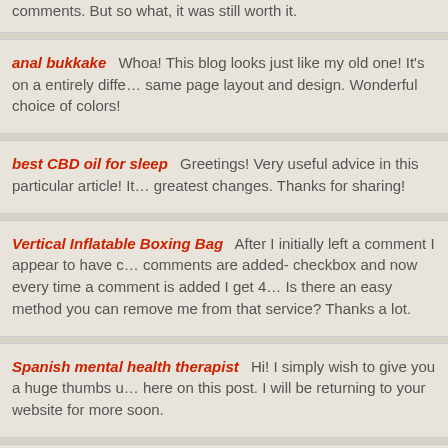comments. But so what, it was still worth it.
anal bukkake    Whoa! This blog looks just like my old one! It's on a entirely different topic but it has pretty much the same page layout and design. Wonderful choice of colors!
best CBD oil for sleep    Greetings! Very useful advice in this particular article! It is the little changes that make the greatest changes. Thanks for sharing!
Vertical Inflatable Boxing Bag    After I initially left a comment I appear to have clicked on the -Notify me when new comments are added- checkbox and now every time a comment is added I get 4 emails with the same comment. Is there an easy method you can remove me from that service? Thanks a lot.
Spanish mental health therapist    Hi! I simply wish to give you a huge thumbs up for the excellent info you have here on this post. I will be returning to your website for more soon.
witchcraft    Very good post. I will be facing some of these issues as well.